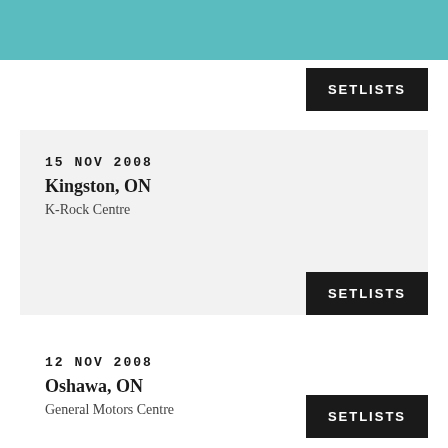SETLISTS
15 NOV 2008
Kingston, ON
K-Rock Centre
SETLISTS
12 NOV 2008
Oshawa, ON
General Motors Centre
SETLISTS